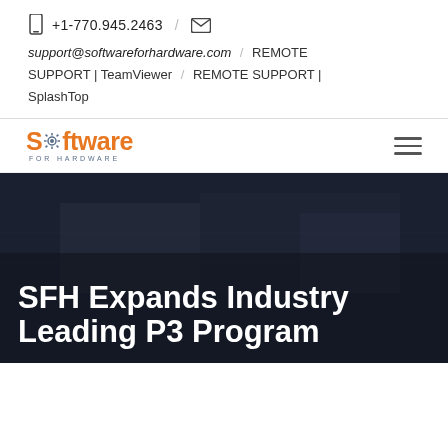+1-770.945.2463 / support@softwareforhardware.com / REMOTE SUPPORT | TeamViewer / REMOTE SUPPORT | SplashTop
[Figure (logo): Software For Hardware logo with orange text and gear icon, blue 'FOR HARDWARE' subtitle]
SFH Expands Industry Leading P3 Program